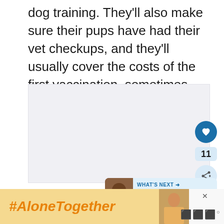dog training. They'll also make sure their pups have had their vet checkups, and they'll usually cover the costs of the first vaccination, sometimes even microchipping.
[Figure (photo): Image placeholder area with light gray background, with social interaction buttons (heart/like, share) on the right side, and a 'What's Next' article preview card showing a Cane Corso Boxer Mix article.]
[Figure (infographic): Advertisement banner: left side has yellow/gold background with '#AloneTogether' in bold orange italic text. Right side shows a photo of a woman and an ad close button with a logo.]